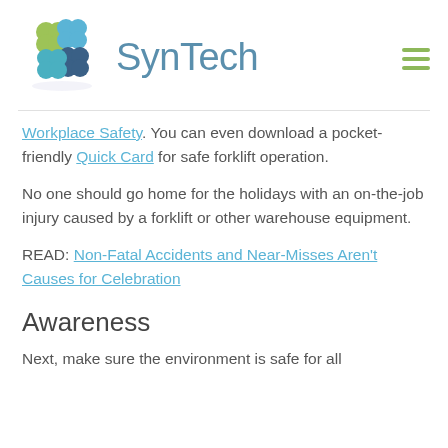[Figure (logo): SynTech logo with colorful puzzle-piece icon in green, teal, and dark blue, alongside the text 'SynTech' in light blue-gray, and a hamburger menu icon on the right]
Workplace Safety. You can even download a pocket-friendly Quick Card for safe forklift operation.
No one should go home for the holidays with an on-the-job injury caused by a forklift or other warehouse equipment.
READ: Non-Fatal Accidents and Near-Misses Aren't Causes for Celebration
Awareness
Next, make sure the environment is safe for all